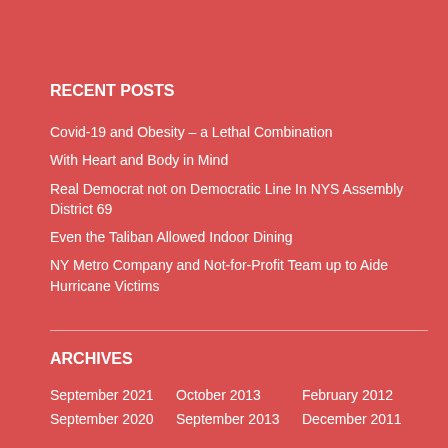RECENT POSTS
Covid-19 and Obesity – a Lethal Combination
With Heart and Body in Mind
Real Democrat not on Democratic Line In NYS Assembly District 69
Even the Taliban Allowed Indoor Dining
NY Metro Company and Not-for-Profit Team up to Aide Hurricane Victims
ARCHIVES
September 2021
October 2013
February 2012
September 2020
September 2013
December 2011